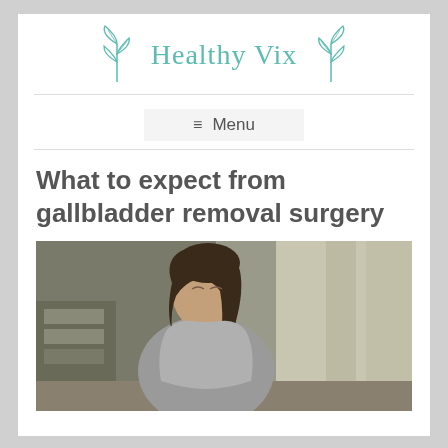[Figure (logo): Healthy Vix website logo with teal leaf illustrations on either side of the text 'Healthy Vix' in teal serif font]
[Figure (screenshot): Navigation menu button with hamburger icon and 'Menu' label on a light gray background]
What to expect from gallbladder removal surgery
[Figure (photo): Photo of a young woman with dark hair, wearing a gray t-shirt, appearing to be in discomfort, seated indoors with curtains and furniture visible in the background]